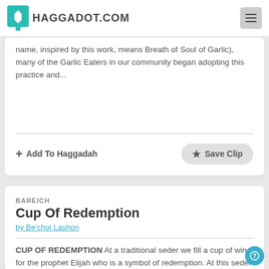HAGGADOT.COM
name, inspired by this work, means Breath of Soul of Garlic), many of the Garlic Eaters in our community began adopting this practice and...
Add To Haggadah
Save Clip
BAREICH
Cup Of Redemption
by Be'chol Lashon
CUP OF REDEMPTION At a traditional seder we fill a cup of wine for the prophet Elijah who is a symbol of redemption. At this seder we are raising a cup of water